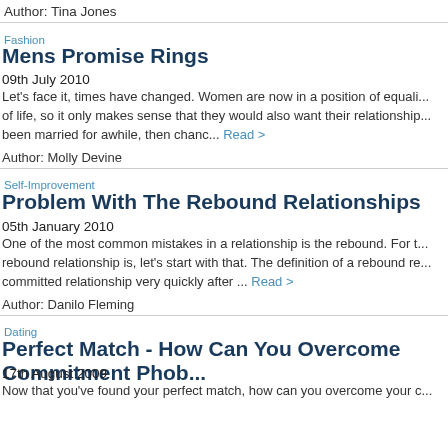Author: Tina Jones
Fashion
Mens Promise Rings
09th July 2010
Let's face it, times have changed. Women are now in a position of equality of life, so it only makes sense that they would also want their relationship... been married for awhile, then chanc... Read >
Author: Molly Devine
Self-Improvement
Problem With The Rebound Relationships
05th January 2010
One of the most common mistakes in a relationship is the rebound. For t... rebound relationship is, let's start with that. The definition of a rebound re... committed relationship very quickly after ... Read >
Author: Danilo Fleming
Dating
Perfect Match - How Can You Overcome Commitment Phob...
17th August 2009
Now that you've found your perfect match, how can you overcome your c...